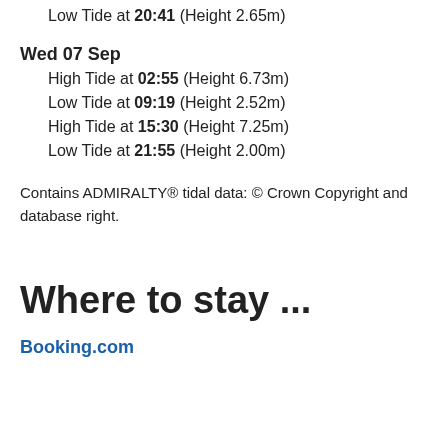Low Tide at 20:41 (Height 2.65m)
Wed 07 Sep
High Tide at 02:55 (Height 6.73m)
Low Tide at 09:19 (Height 2.52m)
High Tide at 15:30 (Height 7.25m)
Low Tide at 21:55 (Height 2.00m)
Contains ADMIRALTY® tidal data: © Crown Copyright and database right.
Where to stay ...
Booking.com